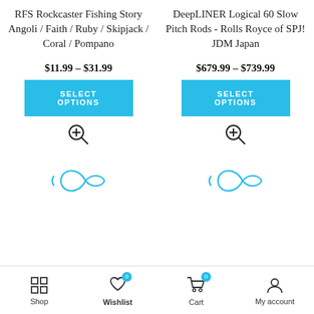RFS Rockcaster Fishing Story Angoli / Faith / Ruby / Skipjack / Coral / Pompano
$11.99 – $31.99
SELECT OPTIONS
[Figure (other): Magnifying glass zoom icon with plus sign]
[Figure (other): Fish icon outline in light blue]
DeepLINER Logical 60 Slow Pitch Rods - Rolls Royce of SPJ! JDM Japan
$679.99 – $739.99
SELECT OPTIONS
[Figure (other): Magnifying glass zoom icon with plus sign]
[Figure (other): Fish icon outline in light blue]
Shop | Wishlist (0) | Cart (0) | My account